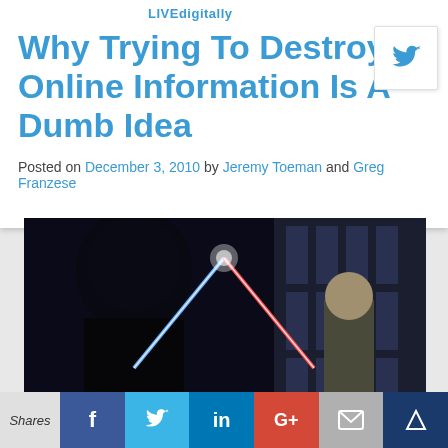LIVEdigitally
Why Trying To Destroy Online Information Is A Dumb Idea
Posted on December 3, 2010 by Jeremy Toeman and Greg Franzese
[Figure (photo): Scene from Star Wars showing Darth Vader and Obi-Wan Kenobi crossing lightsabers - a red and blue lightsaber cross in a dark corridor]
Shares | Facebook | Twitter | LinkedIn | Google+ | Email | Crown